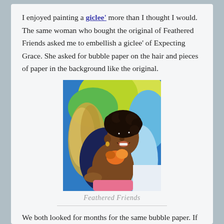I enjoyed painting a giclee' more than I thought I would. The same woman who bought the original of Feathered Friends asked me to embellish a giclee' of Expecting Grace. She asked for bubble paper on the hair and pieces of paper in the background like the original.
[Figure (illustration): Colorful painting of a Black woman with curly hair holding a bird, with a vivid blue, green, and yellow background. The painting is titled 'Feathered Friends'.]
Feathered Friends
We both looked for months for the same bubble paper. If I find it again, I will buy a ream. We settled for a similar